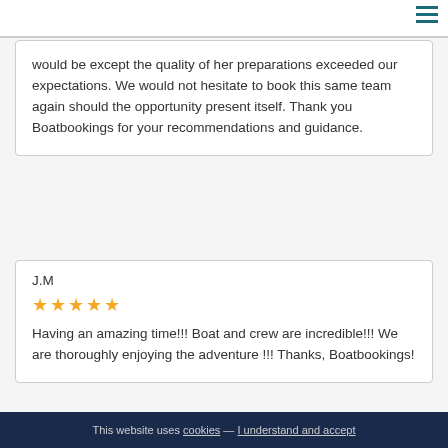would be except the quality of her preparations exceeded our expectations. We would not hesitate to book this same team again should the opportunity present itself. Thank you Boatbookings for your recommendations and guidance.
J.M
★★★★★
Having an amazing time!!! Boat and crew are incredible!!! We are thoroughly enjoying the adventure !!! Thanks, Boatbookings!
This website uses cookies — I understand and accept